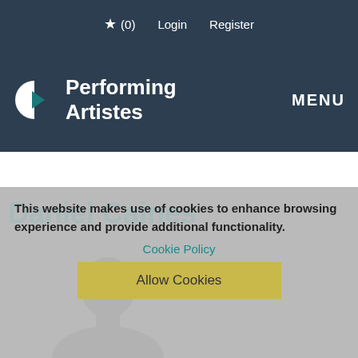★ (0)  Login  Register
[Figure (logo): Performing Artistes logo with half-circle and arrow icon]
MENU
Daniel Caines
This website makes use of cookies to enhance browsing experience and provide additional functionality.
Cookie Policy
Allow Cookies
[Figure (photo): Photo of Daniel Caines, partial view of face from forehead to chin]